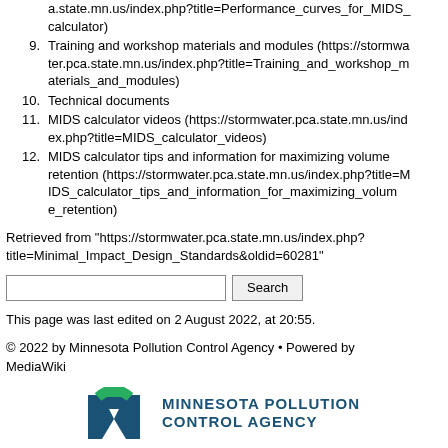a.state.mn.us/index.php?title=Performance_curves_for_MIDS_calculator)
9. Training and workshop materials and modules (https://stormwater.pca.state.mn.us/index.php?title=Training_and_workshop_materials_and_modules)
10. Technical documents
11. MIDS calculator videos (https://stormwater.pca.state.mn.us/index.php?title=MIDS_calculator_videos)
12. MIDS calculator tips and information for maximizing volume retention (https://stormwater.pca.state.mn.us/index.php?title=MIDS_calculator_tips_and_information_for_maximizing_volume_retention)
Retrieved from "https://stormwater.pca.state.mn.us/index.php?title=Minimal_Impact_Design_Standards&oldid=60281"
This page was last edited on 2 August 2022, at 20:55.
© 2022 by Minnesota Pollution Control Agency • Powered by MediaWiki
[Figure (logo): Minnesota Pollution Control Agency logo with stylized M in blue and green, followed by MINNESOTA POLLUTION CONTROL AGENCY text in dark blue]